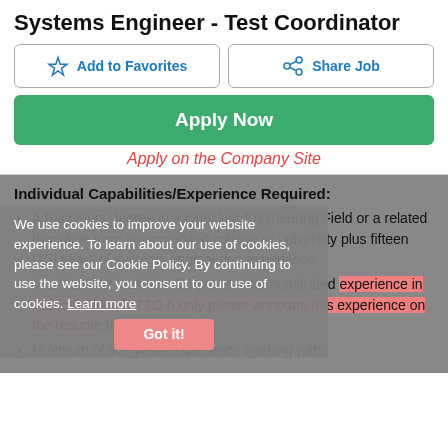Systems Engineer - Test Coordinator
Add to Favorites | Share Job
Apply Now
Apply on the Company Site
Individual Capabilities/Experience Required:
We use cookies to improve your website experience. To learn about our use of cookies, please see our Cookie Policy. By continuing to use the website, you consent to our use of cookies. Learn more Got it!
A Bachelors degree in a Qualified Engineering Field or a related discipline from an accredited college or university plus fifteen (15) years of systems engineering experience.
Must have at least five (5) years of demonstrated experience in Tactical SIGINT. TTO 6 only please annotate this experience on the resume template.
Minimum of five years experience working with